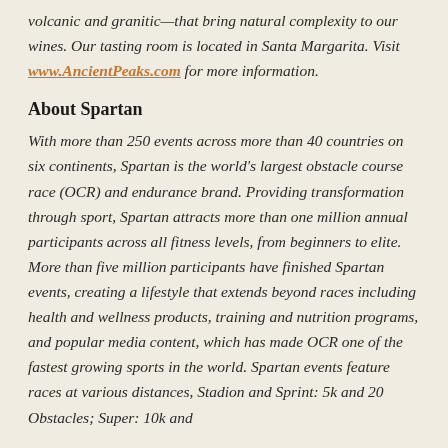volcanic and granitic—that bring natural complexity to our wines. Our tasting room is located in Santa Margarita. Visit www.AncientPeaks.com for more information.
About Spartan
With more than 250 events across more than 40 countries on six continents, Spartan is the world's largest obstacle course race (OCR) and endurance brand. Providing transformation through sport, Spartan attracts more than one million annual participants across all fitness levels, from beginners to elite. More than five million participants have finished Spartan events, creating a lifestyle that extends beyond races including health and wellness products, training and nutrition programs, and popular media content, which has made OCR one of the fastest growing sports in the world. Spartan events feature races at various distances, Stadion and Sprint: 5k and 20 Obstacles; Super: 10k and